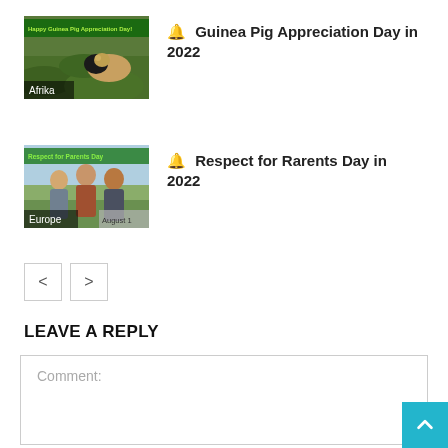[Figure (photo): Thumbnail image for Guinea Pig Appreciation Day article, showing a guinea pig on grass with green overlay text 'Happy Guinea Pig Appreciation Day!' and 'Afrika' label]
🔔 Guinea Pig Appreciation Day in 2022
[Figure (photo): Thumbnail image for Respect for Parents Day article, showing three people (elderly couple and young woman) with green overlay text 'Respect for Parents Day' and 'Europe' label]
🔔 Respect for Rarents Day in 2022
< >
LEAVE A REPLY
Comment: